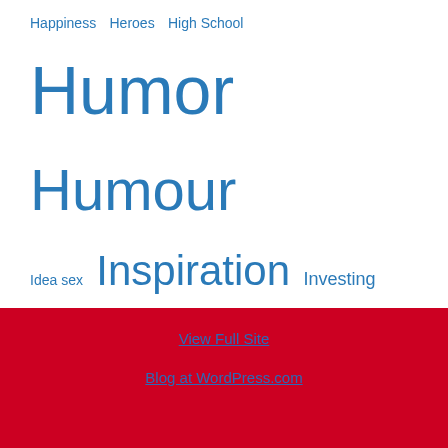[Figure (infographic): Tag cloud with various topic categories in varying font sizes and blue color on white background. Larger text indicates more popular tags. Tags include: Happiness, Heroes, High School, Humor, Humour, Idea sex, Inspiration, Investing, Investments, Laboratory, Language, Lifelong Learning, Memories, Memory, Men and Women, Money, Movies, Music, Optimism, Passion, Personal Growth, Poetry, Politics, Positivity, relationships, Religion, Retirement, Running, Seasons, Self Improvement, Sex, Songwriting, Spring, Stock markets, Travel, Understanding, Virus, Work Life, Worry, Writing]
View Full Site
Blog at WordPress.com